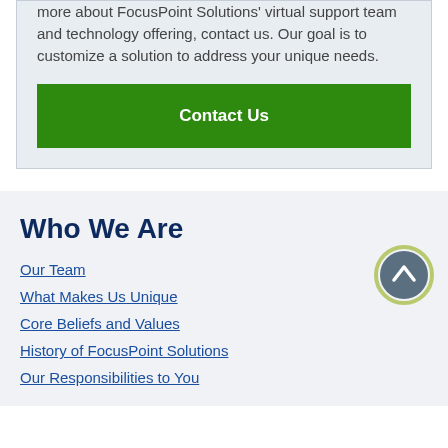more about FocusPoint Solutions' virtual support team and technology offering, contact us. Our goal is to customize a solution to address your unique needs.
Contact Us
Who We Are
Our Team
What Makes Us Unique
Core Beliefs and Values
History of FocusPoint Solutions
Our Responsibilities to You